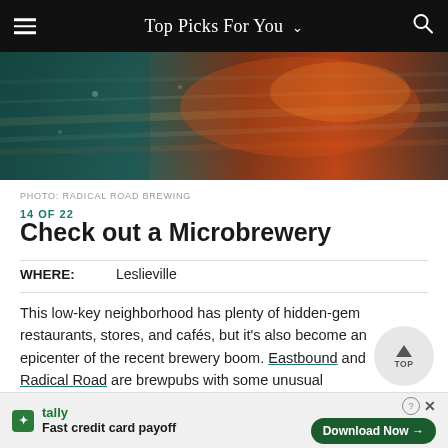Top Picks For You
[Figure (photo): Abstract motion-blur photo of a street or road with teal and orange/red tones, likely outside a brewery]
PHOTO: RADICAL ROAD BREWING
14 OF 22
Check out a Microbrewery
WHERE:    Leslieville
This low-key neighborhood has plenty of hidden-gem restaurants, stores, and cafés, but it's also become an epicenter of the recent brewery boom. Eastbound and Radical Road are brewpubs with some unusual specialties, while Avling is a
[Figure (infographic): Tally app advertisement banner: Fast credit card payoff. Download Now button.]